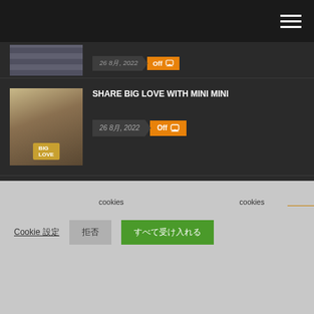Navigation bar with hamburger menu
[Figure (screenshot): Partially visible article thumbnail at top]
Off  [comment icon] date badge partial
[Figure (photo): Thumbnail of person with BIG LOVE branded box]
SHARE BIG LOVE WITH MINI MINI
26 8月, 2022  Off
[Figure (photo): Thumbnail of indoor bar/restaurant scene with Orion beer promotion]
-　-　　　　Orion　　　　　　　 Orion　　　　　　 X
26 8月, 2022  Off
[Figure (photo): Partially visible bottom article thumbnail]
□30 Years Carrying
cookies　　　　　　　　　　　　　　cookies
Cookie 設定  拒否  すべて受け入れる